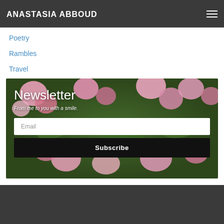ANASTASIA ABBOUD
Poetry
Rambles
Travel
[Figure (photo): Newsletter signup section with pink roses garden background, showing 'Newsletter' heading, 'From me to you with a smile.' subtitle, an Email input field, and a Subscribe button.]